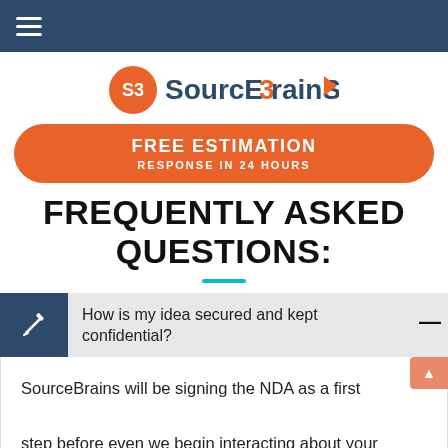SourceBrains navigation header bar
[Figure (logo): SourceBrains logo with orange circle S3 icon and dark blue text SourceBrains with orange arrow accent]
FREE ESTIMATION RESPONSE IN 24 HOURS
FREQUENTLY ASKED QUESTIONS:
How is my idea secured and kept confidential?
SourceBrains will be signing the NDA as a first step before even we begin interacting about your